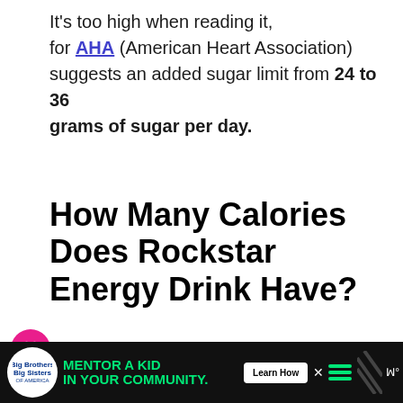It's too high when reading it, for AHA (American Heart Association) suggests an added sugar limit from 24 to 36 grams of sugar per day.
How Many Calories Does Rockstar Energy Drink Have?
Rockstar energy drink has 250 calories per 473ml of serving. This is based on the calorie intake, which we need to be energized.
[Figure (other): Advertisement banner: Big Brothers Big Sisters logo, green text 'MENTOR A KID IN YOUR COMMUNITY.' with 'Learn How' button, decorative stripes, and additional icons on black background.]